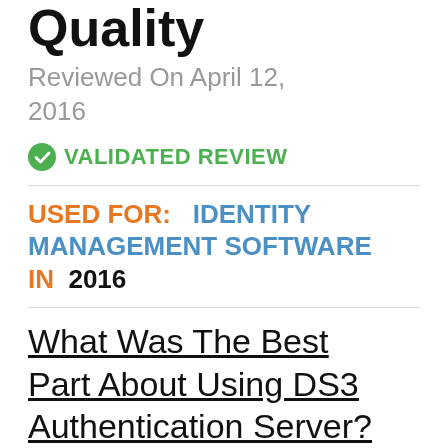High Level Of Quality
Reviewed On April 12, 2016
✓ VALIDATED REVIEW
USED FOR:  IDENTITY MANAGEMENT SOFTWARE IN 2016
What Was The Best Part About Using DS3 Authentication Server?